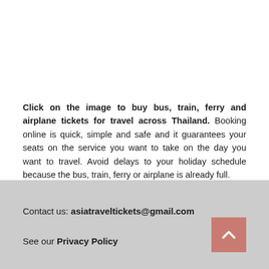Click on the image to buy bus, train, ferry and airplane tickets for travel across Thailand. Booking online is quick, simple and safe and it guarantees your seats on the service you want to take on the day you want to travel. Avoid delays to your holiday schedule because the bus, train, ferry or airplane is already full.
Contact us: asiatraveltickets@gmail.com
See our Privacy Policy